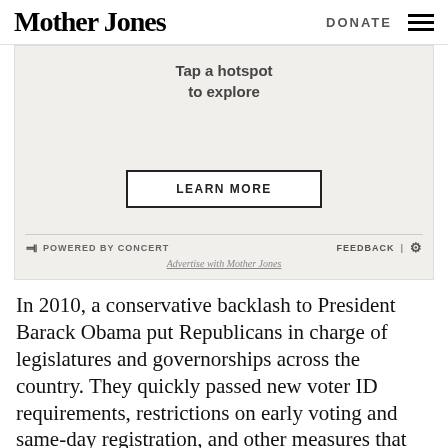Mother Jones | DONATE
[Figure (other): Advertisement zone with 'Tap a hotspot to explore' text and a LEARN MORE button, powered by Concert. Footer shows FEEDBACK and gear icon, plus 'Advertise with Mother Jones' link.]
In 2010, a conservative backlash to President Barack Obama put Republicans in charge of legislatures and governorships across the country. They quickly passed new voter ID requirements, restrictions on early voting and same-day registration, and other measures that have been found to reduce voting among minorities, the poor, young people, and the